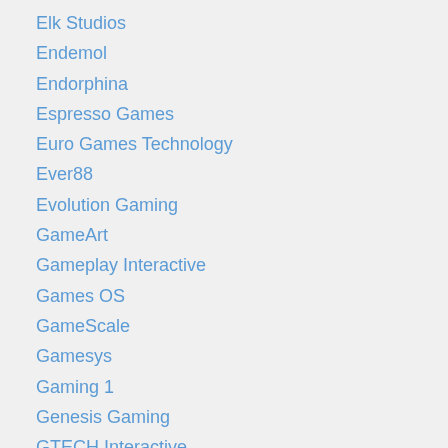Elk Studios
Endemol
Endorphina
Espresso Games
Euro Games Technology
Ever88
Evolution Gaming
GameArt
Gameplay Interactive
Games OS
GameScale
Gamesys
Gaming 1
Genesis Gaming
GTECH Interactive
Habanero
High 5 Games
Holland Power Gaming
IGT
iSoftBet
Kajot
Kismet